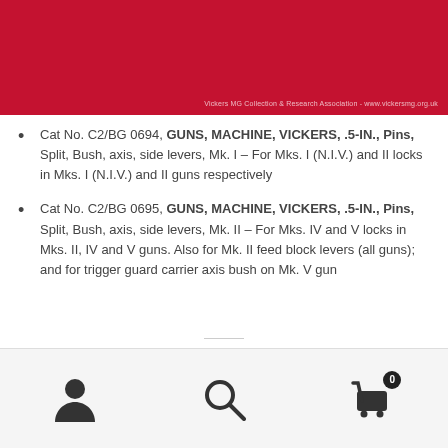[Figure (photo): Red fabric/felt background with text 'Vickers MG Collection & Research Association - www.vickersmg.org.uk' in small white text at bottom right]
Cat No. C2/BG 0694, GUNS, MACHINE, VICKERS, .5-IN., Pins, Split, Bush, axis, side levers, Mk. I – For Mks. I (N.I.V.) and II locks in Mks. I (N.I.V.) and II guns respectively
Cat No. C2/BG 0695, GUNS, MACHINE, VICKERS, .5-IN., Pins, Split, Bush, axis, side levers, Mk. II – For Mks. IV and V locks in Mks. II, IV and V guns. Also for Mk. II feed block levers (all guns); and for trigger guard carrier axis bush on Mk. V gun
Navigation icons: user, search, cart (0)